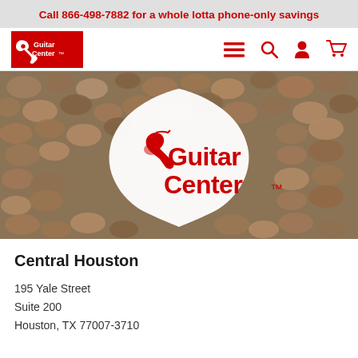Call 866-498-7882 for a whole lotta phone-only savings
[Figure (logo): Guitar Center logo in red box with navigation icons (hamburger menu, search, account, cart)]
[Figure (photo): Guitar Center hero image showing the Guitar Center logo on a white guitar pick shape against a pebble/stone background]
Central Houston
195 Yale Street
Suite 200
Houston, TX 77007-3710